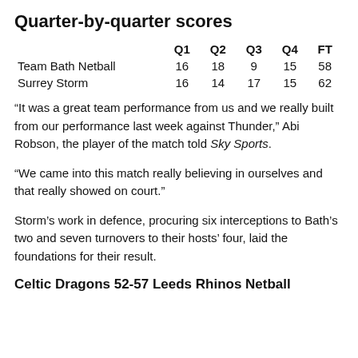Quarter-by-quarter scores
|  | Q1 | Q2 | Q3 | Q4 | FT |
| --- | --- | --- | --- | --- | --- |
| Team Bath Netball | 16 | 18 | 9 | 15 | 58 |
| Surrey Storm | 16 | 14 | 17 | 15 | 62 |
“It was a great team performance from us and we really built from our performance last week against Thunder,” Abi Robson, the player of the match told Sky Sports.
“We came into this match really believing in ourselves and that really showed on court.”
Storm’s work in defence, procuring six interceptions to Bath’s two and seven turnovers to their hosts’ four, laid the foundations for their result.
Celtic Dragons 52-57 Leeds Rhinos Netball